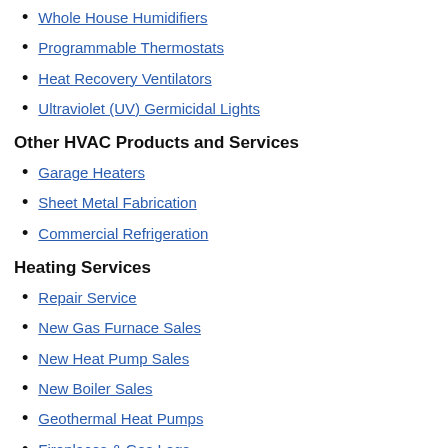Whole House Humidifiers
Programmable Thermostats
Heat Recovery Ventilators
Ultraviolet (UV) Germicidal Lights
Other HVAC Products and Services
Garage Heaters
Sheet Metal Fabrication
Commercial Refrigeration
Heating Services
Repair Service
New Gas Furnace Sales
New Heat Pump Sales
New Boiler Sales
Geothermal Heat Pumps
Fireplaces & Gas Logs
Furnace Installation
Heat Pump Installation
Boiler Installation